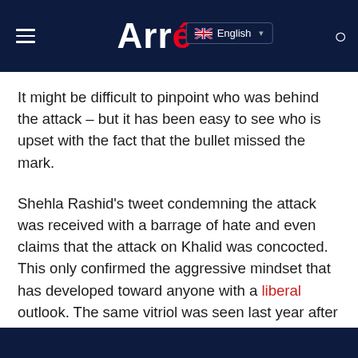Arré — English
It might be difficult to pinpoint who was behind the attack – but it has been easy to see who is upset with the fact that the bullet missed the mark.
Shehla Rashid's tweet condemning the attack was received with a barrage of hate and even claims that the attack on Khalid was concocted. This only confirmed the aggressive mindset that has developed toward anyone with a liberal outlook. The same vitriol was seen last year after veteran journalist Gauri Lankesh was shot dead